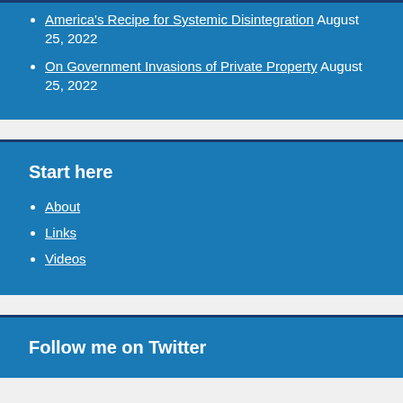America's Recipe for Systemic Disintegration August 25, 2022
On Government Invasions of Private Property August 25, 2022
Start here
About
Links
Videos
Follow me on Twitter